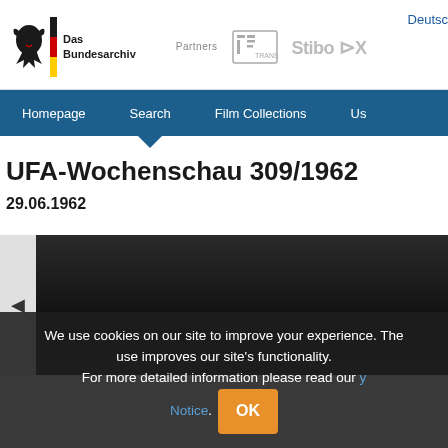[Figure (logo): Das Bundesarchiv logo with German eagle, German flag bar, and text 'Das Bundesarchiv']
[Figure (logo): Partners section showing TRANSIT FILM and Stibo DX logos]
Deutsch
Homepage | Search | Film Collections | Us...
UFA-Wochenschau 309/1962
29.06.1962
[Figure (screenshot): Video player thumbnail showing dark film frame with left arrow navigation]
We use cookies on our site to improve your experience. The use improves our site's functionality. For more detailed information please read our [Privacy] Notice.